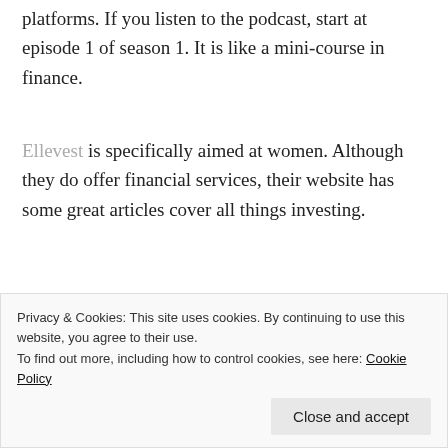platforms. If you listen to the podcast, start at episode 1 of season 1. It is like a mini-course in finance.
Ellevest is specifically aimed at women. Although they do offer financial services, their website has some great articles cover all things investing.
Vanguard is a very good place to start educating yourself on index funds. Again they do offer a service, but they also have
Privacy & Cookies: This site uses cookies. By continuing to use this website, you agree to their use.
To find out more, including how to control cookies, see here: Cookie Policy
Close and accept
based service, they also have a lot of free